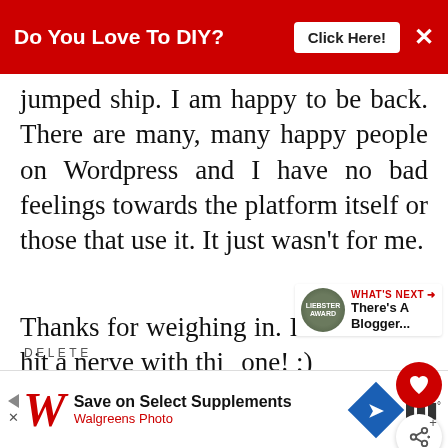[Figure (screenshot): Red advertisement banner at top: 'Do You Love To DIY?' with 'Click Here!' button and X close button]
jumped ship. I am happy to be back. There are many, many happy people on Wordpress and I have no bad feelings towards the platform itself or those that use it. It just wasn't for me.
Thanks for weighing in. I think I hit a nerve with this one! ;)
DELETE
[Figure (screenshot): Walgreens advertisement banner at bottom: 'Save on Select Supplements / Walgreens Photo' with blue diamond navigation icon and dots icon]